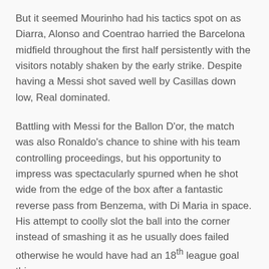But it seemed Mourinho had his tactics spot on as Diarra, Alonso and Coentrao harried the Barcelona midfield throughout the first half persistently with the visitors notably shaken by the early strike. Despite having a Messi shot saved well by Casillas down low, Real dominated.
Battling with Messi for the Ballon D'or, the match was also Ronaldo's chance to shine with his team controlling proceedings, but his opportunity to impress was spectacularly spurned when he shot wide from the edge of the box after a fantastic reverse pass from Benzema, with Di Maria in space. His attempt to coolly slot the ball into the corner instead of smashing it as he usually does failed otherwise he would have had an 18th league goal this season.